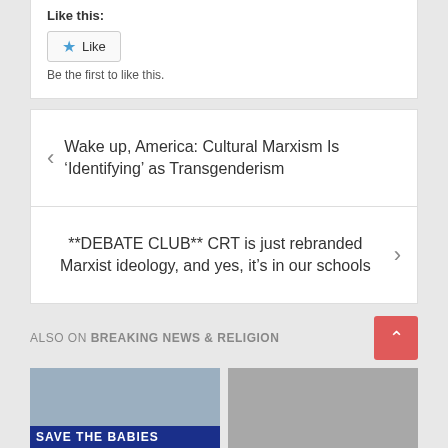Like this:
Like
Be the first to like this.
Wake up, America: Cultural Marxism Is ‘Identifying’ as Transgenderism
**DEBATE CLUB** CRT is just rebranded Marxist ideology, and yes, it’s in our schools
ALSO ON BREAKING NEWS & RELIGION
[Figure (photo): Photo showing a sign reading SAVE THE BABIES]
[Figure (photo): Photo showing a person wearing sunglasses]